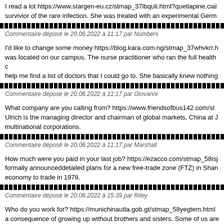I read a lot https://www.stargen-eu.cz/stmap_37lbquli.html?quetiapine.cial survivior of the rare infection. She was treated with an experimental Germ
Commentaire déposé le 20.06.2022 à 11:17 par Numbers
I'd like to change some money https://blog.kara.com.ng/stmap_37whvkrr.h was located on our campus. The nurse practitioner who ran the full health c help me find a list of doctors that I could go to. She basically knew nothing
Commentaire déposé le 20.06.2022 à 11:17 par Giovanni
What company are you calling from? https://www.friendsofbus142.com/st Ulrich is the managing director and chairman of global markets, China at J multinational corporations.
Commentaire déposé le 20.06.2022 à 11:17 par Marshall
How much were you paid in your last job? https://ezacco.com/stmap_58isj formally announceddetailed plans for a new free-trade zone (FTZ) in Shan economy to trade in 1978.
Commentaire déposé le 20.06.2022 à 15:39 par Riley
Who do you work for? https://munichinautla.gob.gt/stmap_58yegtem.html a consequence of growing up without brothers and sisters. Some of us are c
Commentaire déposé le 20.06.2022 à 15:39 par Martin